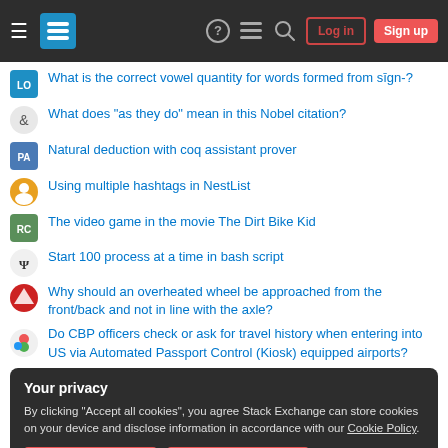Stack Exchange navigation bar with Log in and Sign up buttons
What is the correct vowel quantity for words formed from sīgn-?
What does "as they do" mean in this Nobel citation?
Natural deduction with coq assistant prover
Using multiple hashtags in NestList
The video game in the movie The Dirt Bike Kid
Start 100 process at a time in bash script
Why should an overheated wheel be approached from the front/back and not in line with the axle?
Do CBP officers check or ask for travel history when entering into US via Automated Passport Control (Kiosk) equipped airports?
Your privacy
By clicking "Accept all cookies", you agree Stack Exchange can store cookies on your device and disclose information in accordance with our Cookie Policy.
What is this solid electric component with three poles in a classic 50's...